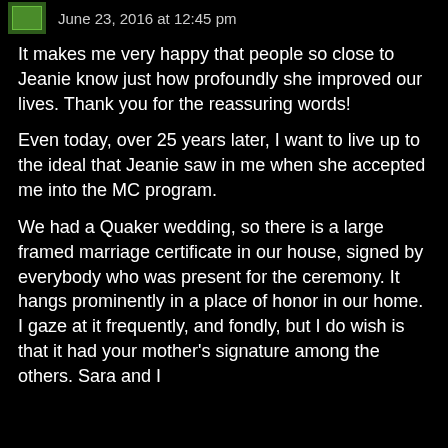June 23, 2016 at 12:45 pm
It makes me very happy that people so close to Jeanie know just how profoundly she improved our lives.  Thank you for the reassuring words!
Even today, over 25 years later, I want to live up to the ideal that Jeanie saw in me when she accepted me into the MC program.
We had a Quaker wedding, so there is a large framed marriage certificate in our house, signed by everybody who was present for the ceremony.  It hangs prominently in a place of honor in our home.  I gaze at it frequently, and fondly, but I do wish is that it had your mother's signature among the others.  Sara and I